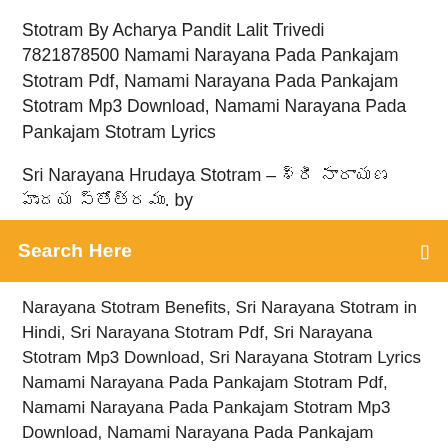Stotram By Acharya Pandit Lalit Trivedi 7821878500 Namami Narayana Pada Pankajam Stotram Pdf, Namami Narayana Pada Pankajam Stotram Mp3 Download, Namami Narayana Pada Pankajam Stotram Lyrics
Sri Narayana Hrudaya Stotram – శ్రీ నారాయణ హృదయ స్తోత్రము. by
Search Here
Narayana Stotram Benefits, Sri Narayana Stotram in Hindi, Sri Narayana Stotram Pdf, Sri Narayana Stotram Mp3 Download, Sri Narayana Stotram Lyrics Namami Narayana Pada Pankajam Stotram Pdf, Namami Narayana Pada Pankajam Stotram Mp3 Download, Namami Narayana Pada Pankajam Stotram Lyrics Lakshmi Narayana Hrudayam Stotram Lyrics In Telugu Pdf - WhatsApp lakshmihrudayam lakshmi hrudayam mp3 free download lakshmi hrudayam stotram lyrics in telugu sri lakshmi hrudayam download Shri Lakshmi Narayana Stotram, Shri lakshmi Narayana Stotram Pdf, Shri lakshmi Narayana